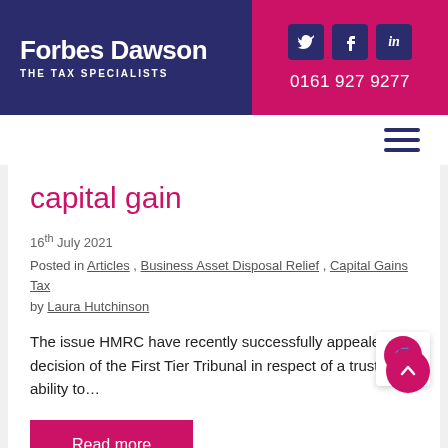Forbes Dawson THE TAX SPECIALISTS | 0161 927 9277
capital gain
16th July 2021
Posted in Articles, Business Asset Disposal Relief, Capital Gains Tax
by Laura Hutchinson
The issue HMRC have recently successfully appealed a decision of the First Tier Tribunal in respect of a trust's ability to…
Read more